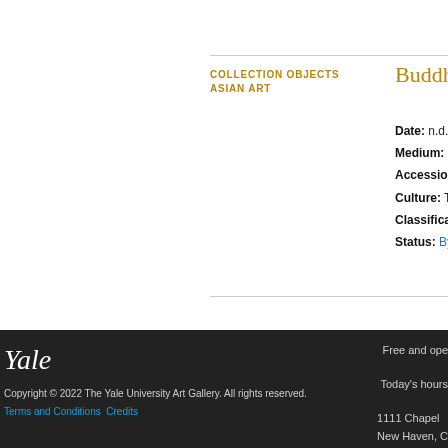COLLECTION OBJECTS
ASIAN ART
Buddhist
Date: n.d.
Medium: Bro
Accession N
Culture: Tibe
Classificatio
Status: By a
Yale
Free and ope
Copyright © 2022 The Yale University Art Gallery. All rights reserved.
Today's hours
Terms and Conditions  Credits
1111 Chapel
New Haven, C